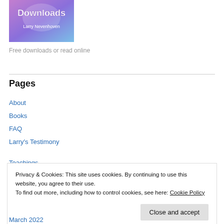[Figure (illustration): Book cover or banner image with 'Downloads' text and 'Larry Nevenhoven' byline on a purple/pink gradient background]
Free downloads or read online
Pages
About
Books
FAQ
Larry's Testimony
Teachings
Privacy & Cookies: This site uses cookies. By continuing to use this website, you agree to their use.
To find out more, including how to control cookies, see here: Cookie Policy
Close and accept
March 2022